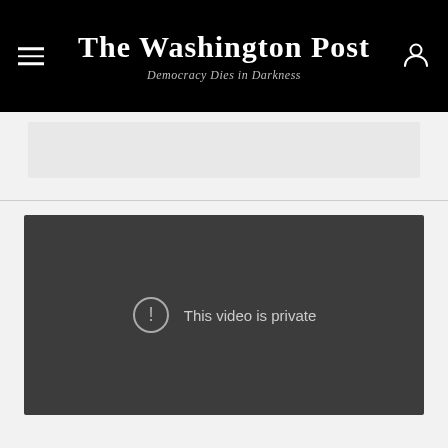The Washington Post — Democracy Dies in Darkness
[Figure (screenshot): Dark video embed placeholder showing 'This video is private' message with warning icon]
This video is private